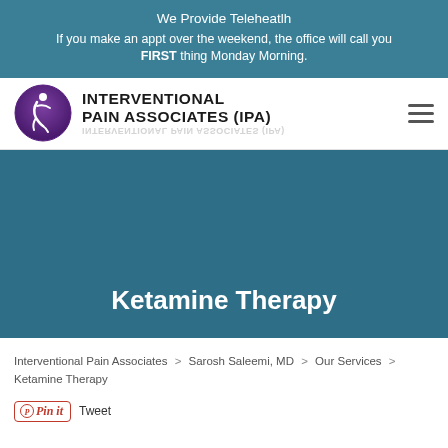We Provide Teleheatlh
If you make an appt over the weekend, the office will call you FIRST thing Monday Morning.
[Figure (logo): Interventional Pain Associates (IPA) logo with purple circle containing a stylized figure and text]
Ketamine Therapy
Interventional Pain Associates > Sarosh Saleemi, MD > Our Services > Ketamine Therapy
Pin it  Tweet